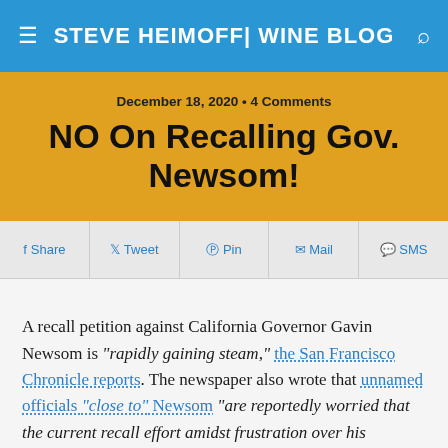STEVE HEIMOFF| WINE BLOG
December 18, 2020 • 4 Comments
NO On Recalling Gov. Newsom!
Share  Tweet  Pin  Mail  SMS
A recall petition against California Governor Gavin Newsom is "rapidly gaining steam," the San Francisco Chronicle reports. The newspaper also wrote that unnamed officials "close to" Newsom "are reportedly worried that the current recall effort amidst frustration over his handling of the coronavirus pandemic could prove successful."